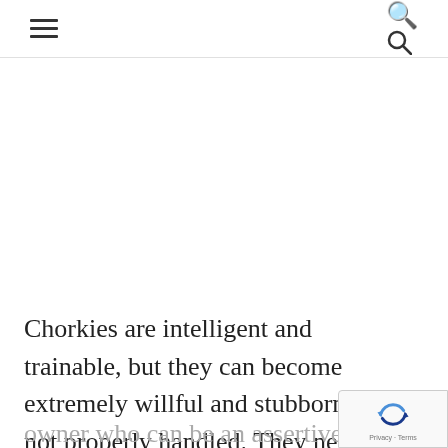≡  🔍
Chorkies are intelligent and trainable, but they can become extremely willful and stubborn if not properly handled. They need an
owner who can be an assertive leader